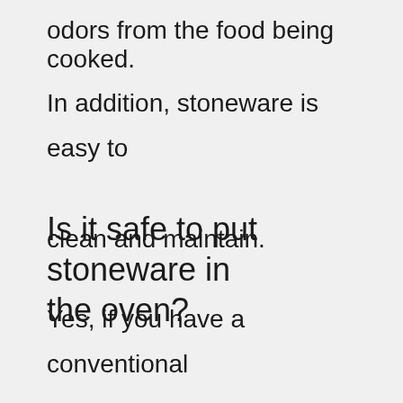odors from the food being cooked.
In addition, stoneware is easy to clean and maintain.
Is it safe to put stoneware in the oven?
Yes, if you have a conventional oven, you can use it to bake bread. However, you cannot use a